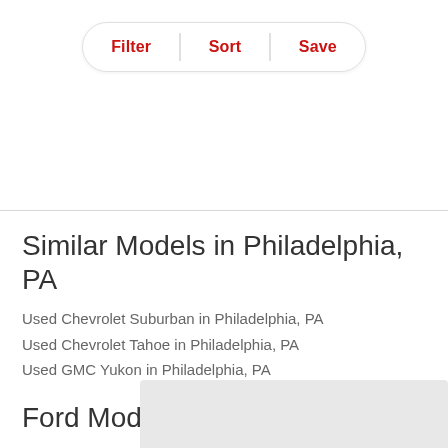[Figure (screenshot): Toolbar with Filter, Sort, Save buttons in a pill/rounded rectangle shape with red text]
Similar Models in Philadelphia, PA
Used Chevrolet Suburban in Philadelphia, PA
Used Chevrolet Tahoe in Philadelphia, PA
Used GMC Yukon in Philadelphia, PA
Ford Models in Pennsylvania
Used Ford EcoSport in Philadelphia, PA
Used Ford Edge in Philadelphia, PA